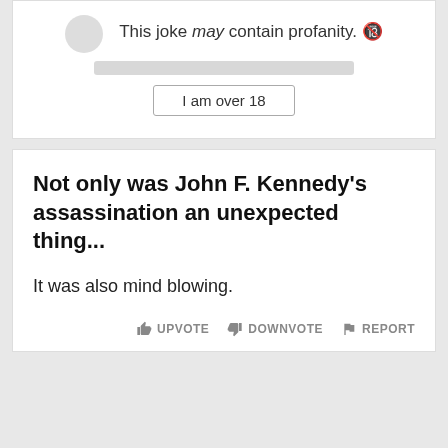This joke may contain profanity. 🔞
I am over 18
Not only was John F. Kennedy's assassination an unexpected thing...
It was also mind blowing.
UPVOTE   DOWNVOTE   REPORT